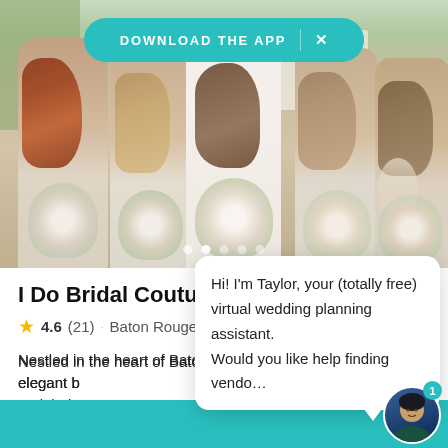[Figure (photo): Wedding photo showing bride and bridesmaids holding bouquets, standing with their backs to the camera in front of a white building]
DOWNLOAD THE APP  X
I Do Bridal Couture
4.6 (21) · Baton Rouge, LA
Nestled in the heart of Baton Rouge, Louisiana, an elegant b... brides and thei...
Hi! I'm Taylor, your (totally free) virtual wedding planning assistant. Would you like help finding vendo...